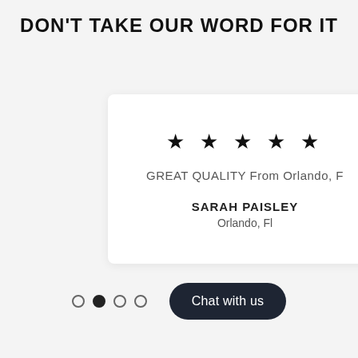DON'T TAKE OUR WORD FOR IT
★ ★ ★ ★ ★
GREAT QUALITY From Orlando, F
SARAH PAISLEY
Orlando, Fl
○ ● ○ ○  Chat with us